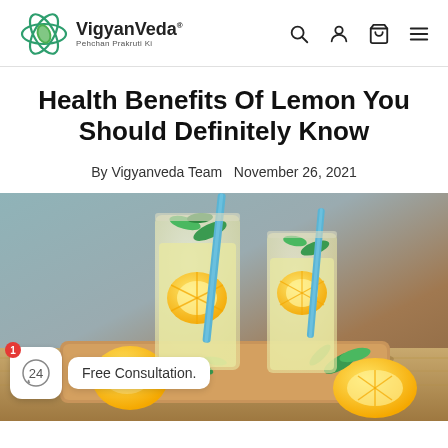VigyanVeda — Pehchan Prakruti Ki (navigation bar with search, user, cart, menu icons)
Health Benefits Of Lemon You Should Definitely Know
By Vigyanveda Team  November 26, 2021
[Figure (photo): Two tall glasses of lemonade with lemon slices, mint leaves, and blue straws on a wooden cutting board with lemons and mint around them. A 'Free Consultation.' chat widget is overlaid in the bottom-left corner.]